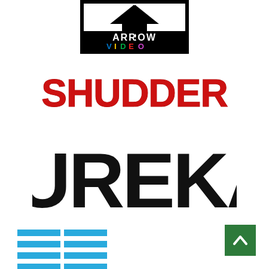[Figure (logo): Arrow Video logo — black bordered rectangle with an upward arrow shape, text ARROW in black bold, VIDEO in colored letters (V=blue, I=yellow, D=green, E=red, O=magenta) on black background]
[Figure (logo): Shudder logo — bold distressed red block letters spelling SHUDDER]
[Figure (logo): Eureka! logo — large bold black sans-serif letters spelling EUREKA! with stylized cuts/notches in letters]
[Figure (logo): 88 Films logo — two large numerals '88' composed of horizontal blue stripes on white, resembling LCD/segment display digits]
[Figure (other): Green square back-to-top button with white upward arrow chevron]